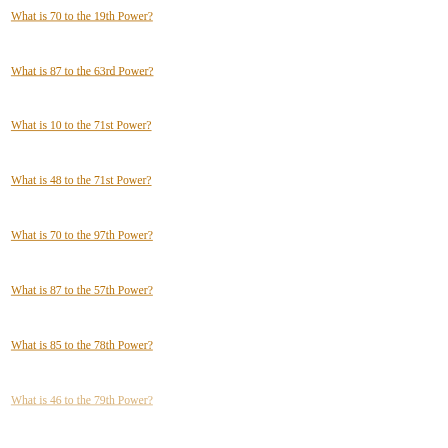What is 70 to the 19th Power?
What is 87 to the 63rd Power?
What is 10 to the 71st Power?
What is 48 to the 71st Power?
What is 70 to the 97th Power?
What is 87 to the 57th Power?
What is 85 to the 78th Power?
What is 46 to the 79th Power?